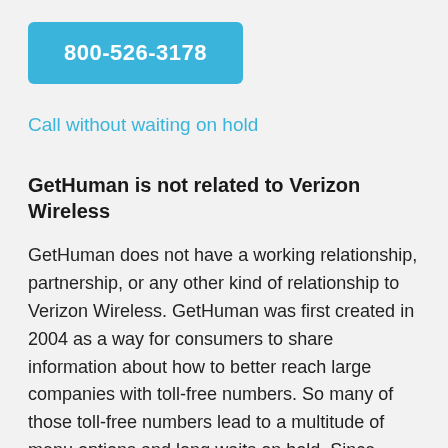[Figure (other): Blue button with phone number 800-526-3178 in white bold text]
Call without waiting on hold
GetHuman is not related to Verizon Wireless
GetHuman does not have a working relationship, partnership, or any other kind of relationship to Verizon Wireless. GetHuman was first created in 2004 as a way for consumers to share information about how to better reach large companies with toll-free numbers. So many of those toll-free numbers lead to a multitude of menu options and long waits on hold. Since then, GetHuman tries to gather information that helps the average person reach a company or solve a particular problem with that company, its